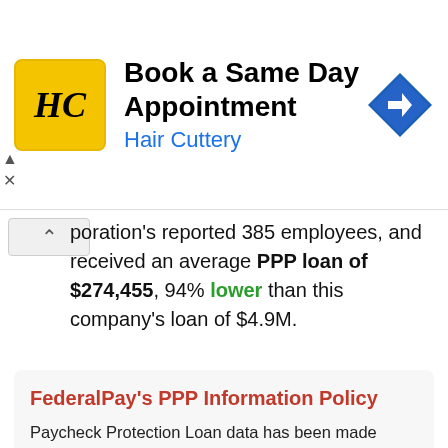[Figure (other): Hair Cuttery advertisement banner with HC logo, 'Book a Same Day Appointment' headline, and navigation arrow icon]
poration's reported 385 employees, and received an average PPP loan of $274,455, 94% lower than this company's loan of $4.9M.
FederalPay's PPP Information Policy
Paycheck Protection Loan data has been made public by the Small Business Administration (SBA) for all private companies that received a PPP loan.
All information displayed on this page is publicly available information under PPP loan guidelines, in compliance with 5 U.S.C. § 552 (Freedom of Information Act) and 5 U.S.C. § 552a (the Privacy Act) and is published unmodified, as provided by the SBA. FederalPay does not modify the data and makes no claims regarding its accuracy.
Any corrections or modifications to this data can only be made